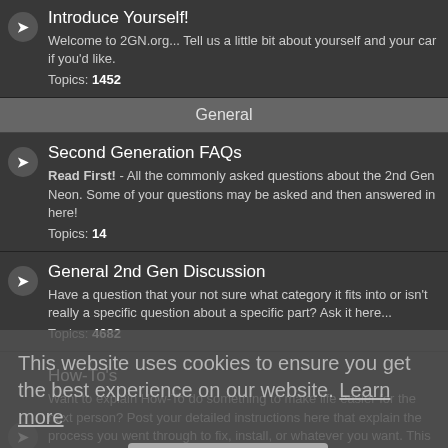Introduce Yourself!
Welcome to 2GN.org... Tell us a little bit about yourself and your car if you'd like.
Topics: 1452
General
Second Generation FAQs
Read First! - All the commonly asked questions about the 2nd Gen Neon. Some of your questions may be asked and then answered in here!
Topics: 14
General 2nd Gen Discussion
Have a question that your not sure what category it fits into or isn't really a specific question about a specific part? Ask it here...
Topics: 4682
How-To's
Want to explain How-To do something to make life easier for the next person? Post your detailed instructions here that explain the process you went through to fix, install, or whatever you want. This IS NOT the place to ask how to do something, please ask those questions in one of the other topic specific boards.
Subforums: HT Engine, HT Electrical, HT Interior, HT
This website uses cookies to ensure you get the best experience on our website. Learn more
Got It!